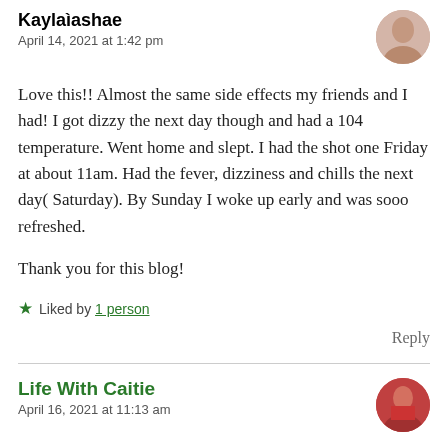Kaylaìashae
April 14, 2021 at 1:42 pm
Love this!! Almost the same side effects my friends and I had! I got dizzy the next day though and had a 104 temperature. Went home and slept. I had the shot one Friday at about 11am. Had the fever, dizziness and chills the next day( Saturday). By Sunday I woke up early and was sooo refreshed.

Thank you for this blog!
Liked by 1 person
Reply
Life With Caitie
April 16, 2021 at 11:13 am